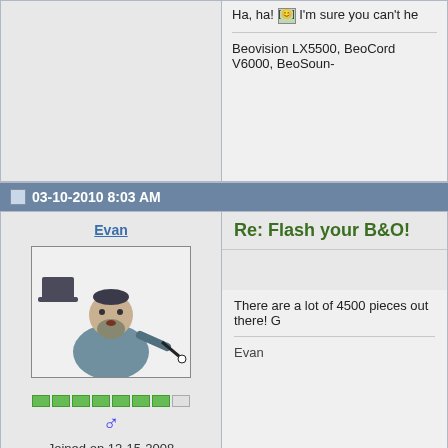Ha, ha! [Big Smile] I'm sure you can't he
Beovision LX5500, BeoCord V6000, BeoSoun-
03-10-2010 8:03 AM
Evan
[Figure (illustration): Cartoon drawing of a magician in top hat holding a wand]
Joined on 12-15-2008
Ohio | USA
Posts 2,601
Re: Flash your B&O!
There are a lot of 4500 pieces out there! G
Evan